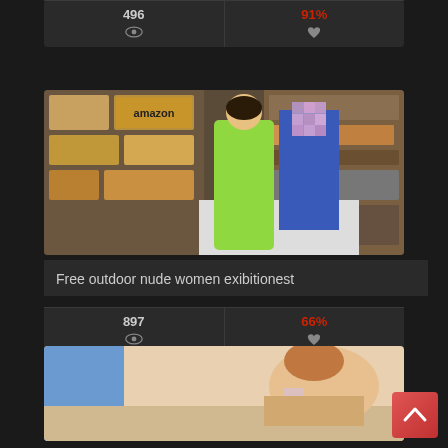[Figure (screenshot): Top card partial — stats row showing 496 views and 91% likes with eye and heart icons]
[Figure (photo): Thumbnail image of two people in a storage room with shelves and boxes]
Free outdoor nude women exibitionest
897  66%
[Figure (photo): Partial thumbnail of a person at bottom of page]
[Figure (other): Back to top button — red square with upward chevron arrow]